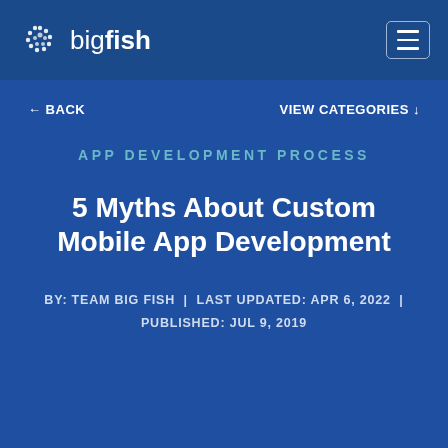bigfish
← BACK    VIEW CATEGORIES ↓
APP DEVELOPMENT PROCESS
5 Myths About Custom Mobile App Development
BY: TEAM BIG FISH  |  LAST UPDATED: APR 6, 2022  |  PUBLISHED: JUL 9, 2019